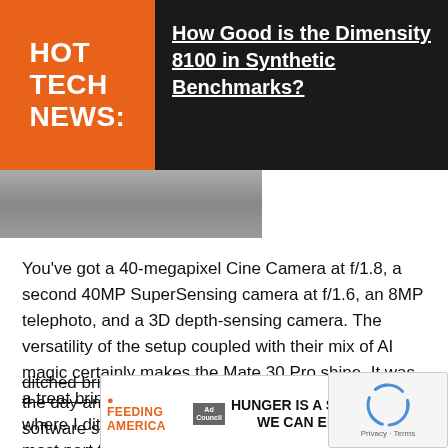HOT TECH NEWS:
How Good is the Dimensity 8100 in Synthetic Benchmarks?
[Figure (photo): Partial photo of a landscape/object, dark background header area]
You've got a 40-megapixel Cine Camera at f/1.8, a second 40MP SuperSensing camera at f/1.6, an 8MP telephoto, and a 3D depth-sensing camera. The versatility of the setup coupled with their mix of AI magic certainly makes the Mate 30 Pro shine. It was a treat bringing this around our trip to Budapest where I ditched bringing an actual camera for the most part to just bringing the phone  to capture the day and night. They've also improved upon the software side of things with a recent update that fixed aperture mode, which now has that creamy
[Figure (other): Feeding America Ad Council advertisement banner: HUNGER IS A STORY WE CAN END]
[Figure (other): Google reCAPTCHA widget]